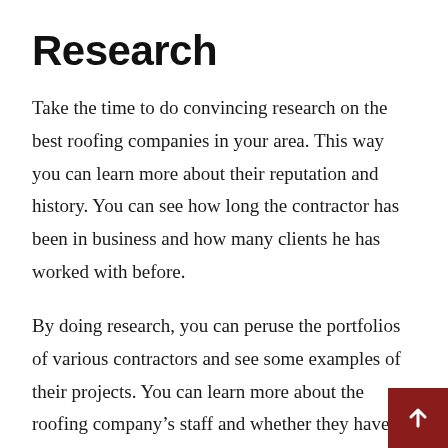Research
Take the time to do convincing research on the best roofing companies in your area. This way you can learn more about their reputation and history. You can see how long the contractor has been in business and how many clients he has worked with before.
By doing research, you can peruse the portfolios of various contractors and see some examples of their projects. You can learn more about the roofing company’s staff and whether they have the expertise to carry out your roofing project. Visit the contractor’s website to learn more about their services and see ph